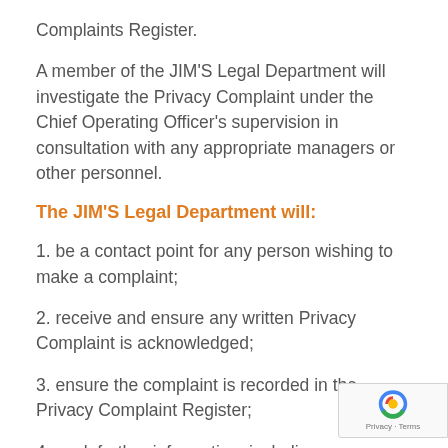Complaints Register.
A member of the JIM'S Legal Department will investigate the Privacy Complaint under the Chief Operating Officer's supervision in consultation with any appropriate managers or other personnel.
The JIM'S Legal Department will:
1. be a contact point for any person wishing to make a complaint;
2. receive and ensure any written Privacy Complaint is acknowledged;
3. ensure the complaint is recorded in the Privacy Complaint Register;
4. seek further information, including any documentation the complainant wishes to add during